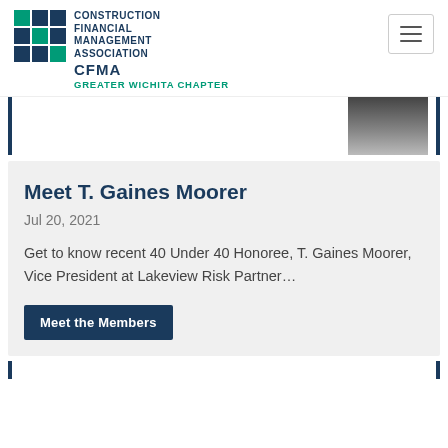CONSTRUCTION FINANCIAL MANAGEMENT ASSOCIATION CFMA GREATER WICHITA CHAPTER
[Figure (photo): Partial view of a person in a dark suit, cropped photo at top of a card]
Meet T. Gaines Moorer
Jul 20, 2021
Get to know recent 40 Under 40 Honoree, T. Gaines Moorer, Vice President at Lakeview Risk Partner…
Meet the Members